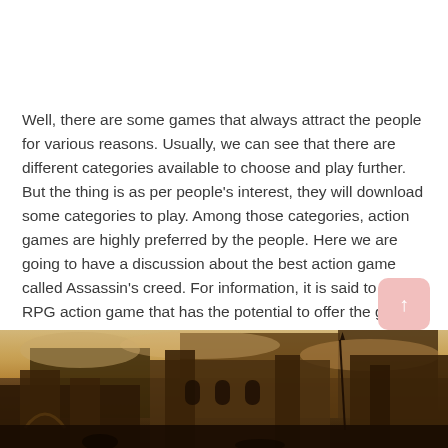Well, there are some games that always attract the people for various reasons. Usually, we can see that there are different categories available to choose and play further. But the thing is as per people's interest, they will download some categories to play. Among those categories, action games are highly preferred by the people. Here we are going to have a discussion about the best action game called Assassin's creed. For information, it is said to be the RPG action game that has the potential to offer the great experience.
[Figure (photo): Screenshot or photo of Assassin's Creed game environment showing ancient architecture and warm orange/brown toned sky]